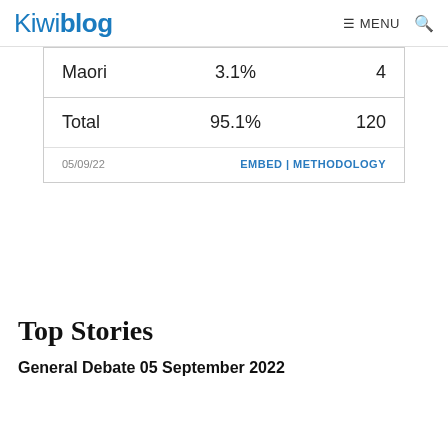Kiwiblog  ≡ MENU  🔍
| Maori | 3.1% | 4 |
| Total | 95.1% | 120 |
05/09/22   EMBED | METHODOLOGY
Top Stories
General Debate 05 September 2022